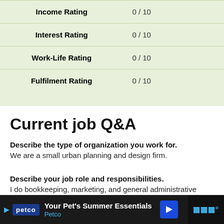|  |  |
| --- | --- |
| Income Rating | 0 / 10 |
| Interest Rating | 0 / 10 |
| Work-Life Rating | 0 / 10 |
| Fulfilment Rating | 0 / 10 |
Current job Q&A
Describe the type of organization you work for.
We are a small urban planning and design firm.
Describe your job role and responsibilities.
I do bookkeeping, marketing, and general administrative work.
Pl... ...nsation)